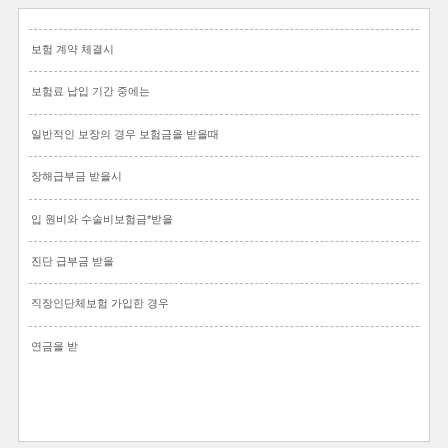보험 계약 체결시
보험료 납입 기간 중에는
일반적인 보장의 경우 보험금을 받을때
장해급부금 받을시
입 원비와 수술비보험금*받을
진단 급부금 받을
직장인단체보험 가입한 경우
연금을 받